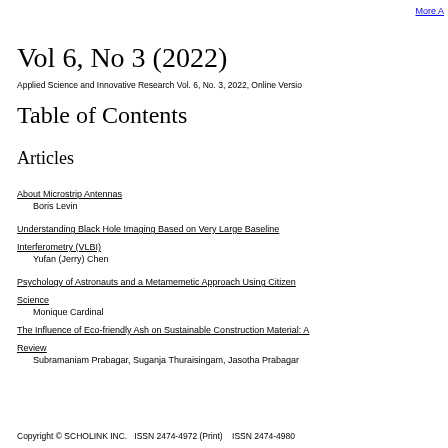More A
Vol 6, No 3 (2022)
Applied Science and Innovative Research Vol. 6, No. 3, 2022, Online Versio
Table of Contents
Articles
About Microstrip Antennas
    Boris Levin
Understanding Black Hole Imaging Based on Very Large Baseline Interferometry (VLBI)
    Yufan (Jerry) Chen
Psychology of Astronauts and a Metamemetic Approach Using Citizen Science
    Monique Cardinal
The Influence of Eco-friendly Ash on Sustainable Construction Material: A Review
    Subramaniam Prabagar, Suganja Thuraisingam, Jasotha Prabagar
Copyright © SCHOLINK INC.   ISSN 2474-4972 (Print)    ISSN 2474-4980